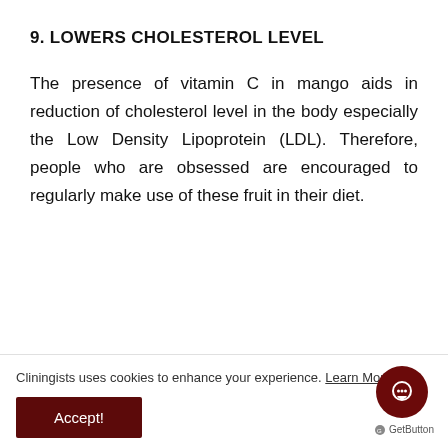9. LOWERS CHOLESTEROL LEVEL
The presence of vitamin C in mango aids in reduction of cholesterol level in the body especially the Low Density Lipoprotein (LDL). Therefore, people who are obsessed are encouraged to regularly make use of these fruit in their diet.
Cliningists uses cookies to enhance your experience. Learn More
Accept!